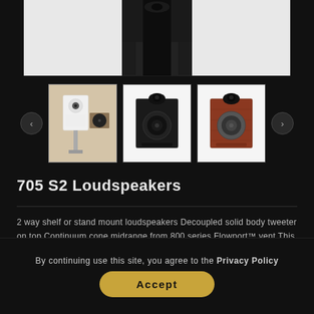[Figure (photo): Top portion of a B&W 705 S2 loudspeaker on dark background, showing top portion cut off]
[Figure (photo): Three thumbnail images of the 705 S2 loudspeaker: white finish in room setting, black finish on stand, and red/rosenut finish]
705 S2 Loudspeakers
2 way shelf or stand mount loudspeakers Decoupled solid body tweeter on top Continuum cone midrange from 800 series Flowport™ vent This uncompromising two-way speaker reveals subtle nuances in music others miss. Its high performance features include a solid body...
By continuing use this site, you agree to the Privacy Policy
Accept